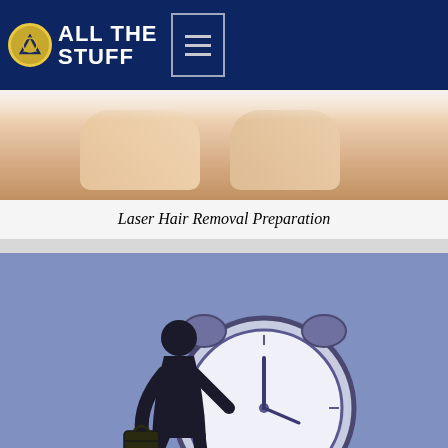ALL THE STUFF
[Figure (photo): Close-up photo of smooth legs on white background]
Laser Hair Removal Preparation
[Figure (illustration): Illustration of a man in a suit carrying a briefcase standing next to a large alarm clock on a blue background]
The 10-Minute Morning Routine for Men
[Figure (photo): Close-up photo of hair/scalp]